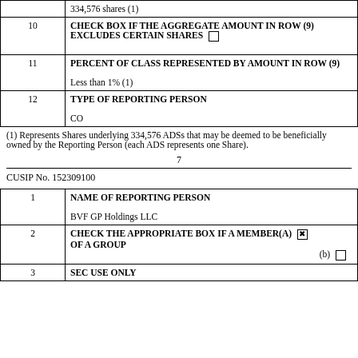| Row | Content |
| --- | --- |
|  | 334,576 shares (1) |
| 10 | CHECK BOX IF THE AGGREGATE AMOUNT IN ROW (9) EXCLUDES CERTAIN SHARES  ☐ |
| 11 | PERCENT OF CLASS REPRESENTED BY AMOUNT IN ROW (9)

Less than 1% (1) |
| 12 | TYPE OF REPORTING PERSON

CO |
(1) Represents Shares underlying 334,576 ADSs that may be deemed to be beneficially owned by the Reporting Person (each ADS represents one Share).
7
CUSIP No. 152309100
| Row | Content |
| --- | --- |
| 1 | NAME OF REPORTING PERSON

BVF GP Holdings LLC |
| 2 | CHECK THE APPROPRIATE BOX IF A MEMBER(a) ☒ OF A GROUP
(b) ☐ |
| 3 | SEC USE ONLY |